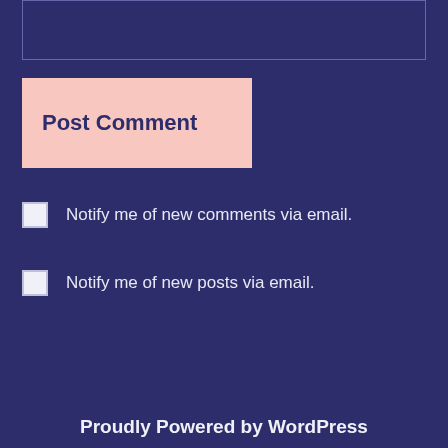[Figure (screenshot): Text input box (textarea) with a thin border on dark navy background]
Post Comment
Notify me of new comments via email.
Notify me of new posts via email.
Proudly Powered by WordPress